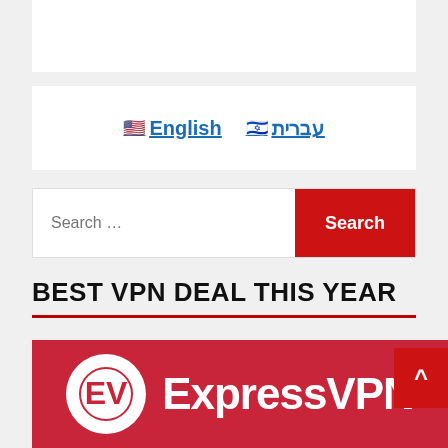[Figure (screenshot): Top white banner area]
🇺🇸 English  🇮🇱 עברית
Search ...
BEST VPN DEAL THIS YEAR
[Figure (logo): ExpressVPN logo on red background]